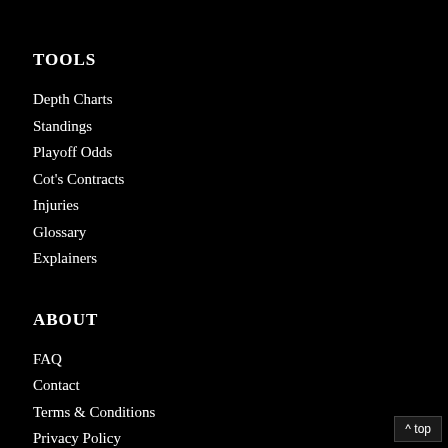TOOLS
Depth Charts
Standings
Playoff Odds
Cot's Contracts
Injuries
Glossary
Explainers
ABOUT
FAQ
Contact
Terms & Conditions
Privacy Policy
Masthead
^ top